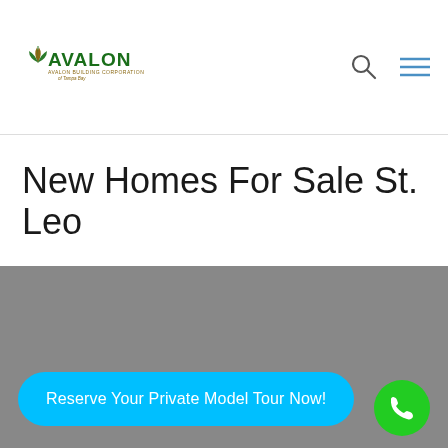Avalon Building Corporation of Tampa Bay
New Homes For Sale St. Leo
[Figure (photo): Gray placeholder image area for new homes in St. Leo]
Reserve Your Private Model Tour Now!